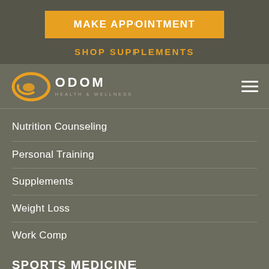MAKE APPOINTMENT
SHOP SUPPLEMENTS
[Figure (logo): Odom Health & Wellness logo with orange oval icon and white text]
Nutrition Counseling
Personal Training
Supplements
Weight Loss
Work Comp
SPORTS MEDICINE
IV Therapy
Massage Therapy
Orthopedic Bracing